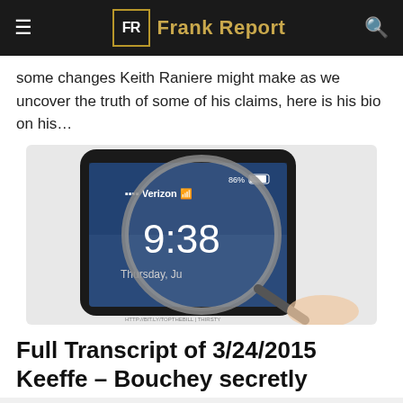FR Frank Report
some changes Keith Raniere might make as we uncover the truth of some of his claims, here is his bio on his…
[Figure (photo): A hand holding a magnifying glass over a smartphone showing a Verizon lock screen with time 9:38, 86% battery, Thursday, June]
Full Transcript of 3/24/2015 Keeffe – Bouchey secretly